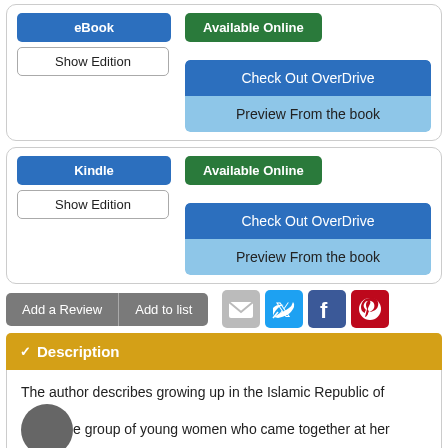[Figure (screenshot): eBook card with Available Online badge, Check Out OverDrive and Preview From the book buttons]
[Figure (screenshot): Kindle card with Available Online badge, Check Out OverDrive and Preview From the book buttons]
Add a Review
Add to list
[Figure (infographic): Social sharing icons: email, Twitter, Facebook, Pinterest]
Description
The author describes growing up in the Islamic Republic of Iran, and a group of young women who came together at her home in secret every Thursday to read and discuss great books of Western literature.